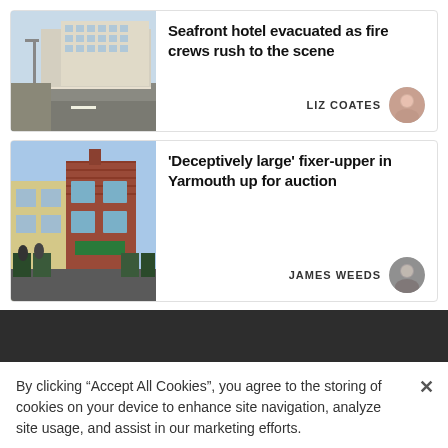[Figure (photo): Seafront hotel building with road in foreground]
Seafront hotel evacuated as fire crews rush to the scene
LIZ COATES
[Figure (photo): Brick residential building fixer-upper property]
'Deceptively large' fixer-upper in Yarmouth up for auction
JAMES WEEDS
By clicking “Accept All Cookies”, you agree to the storing of cookies on your device to enhance site navigation, analyze site usage, and assist in our marketing efforts.